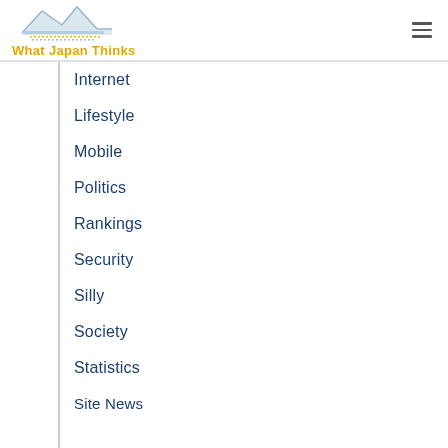What Japan Thinks
Internet
Lifestyle
Mobile
Politics
Rankings
Security
Silly
Society
Statistics
Site News